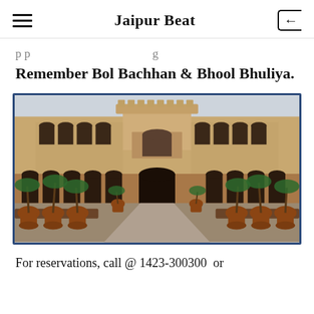Jaipur Beat
Remember Bol Bachhan & Bhool Bhuliya.
[Figure (photo): Photograph of a grand Rajasthani palace (haveli) with multiple arched tiers, ornate carvings, and a courtyard lined with large terracotta planters containing palm trees. The building is made of warm sandstone and features Mughal-influenced architecture.]
For reservations, call @ 1423-300300  or